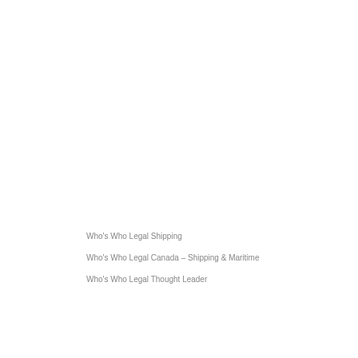Who's Who Legal Shipping
Who's Who Legal Canada – Shipping & Maritime
Who's Who Legal Thought Leader